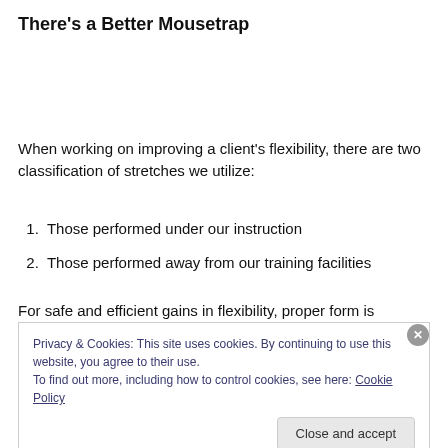There's a Better Mousetrap
When working on improving a client's flexibility, there are two classification of stretches we utilize:
1. Those performed under our instruction
2. Those performed away from our training facilities
For safe and efficient gains in flexibility, proper form is
Privacy & Cookies: This site uses cookies. By continuing to use this website, you agree to their use.
To find out more, including how to control cookies, see here: Cookie Policy